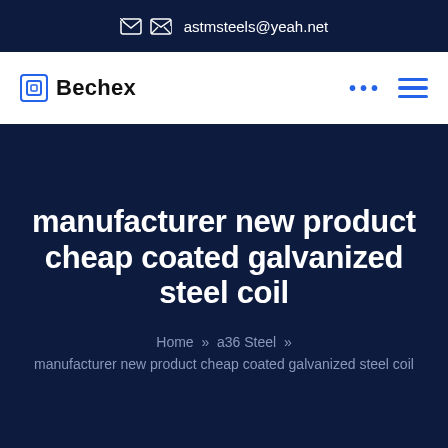✉ astmsteels@yeah.net
[Figure (logo): Bechex logo with square bracket icon and bold text 'Bechex']
manufacturer new product cheap coated galvanized steel coil
Home » a36 Steel » manufacturer new product cheap coated galvanized steel coil